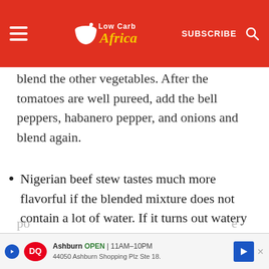Low Carb Africa — SUBSCRIBE
blend the other vegetables. After the tomatoes are well pureed, add the bell peppers, habanero pepper, and onions and blend again.
Nigerian beef stew tastes much more flavorful if the blended mixture does not contain a lot of water. If it turns out watery when you blend it, pour it into a po...
[Figure (screenshot): Dairy Queen advertisement banner: Ashburn OPEN 11AM-10PM, 44050 Ashburn Shopping Plz Ste 18.]